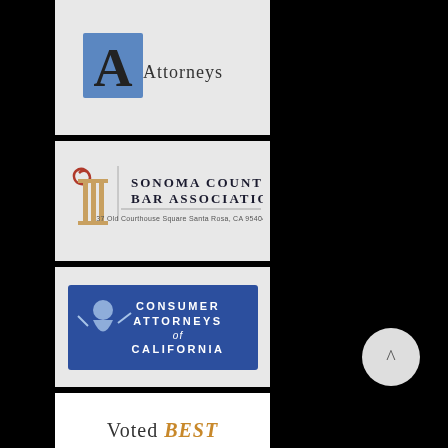[Figure (logo): Attorneys logo with blue and black 'A' letter icon and text 'Attorneys']
[Figure (logo): Sonoma County Bar Association logo with red spiral column icon, organization name in dark serif font, address: 37 Old Courthouse Square, Santa Rosa, CA 95404-4938]
[Figure (logo): Consumer Attorneys of California logo - blue banner with stylized justice figure on left and text 'CONSUMER ATTORNEYS of CALIFORNIA' on right in white uppercase letters]
[Figure (logo): Voted BEST BANKRUPTCY award logo - white background with gray 'Voted' text, gold/brown bold italic 'BEST' text, and large black bold 'BANKRUPTCY' text]